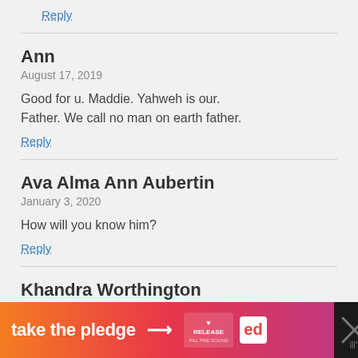Reply
Ann
August 17, 2019
Good for u. Maddie. Yahweh is our. Father. We call no man on earth father.
Reply
Ava Alma Ann Aubertin
January 3, 2020
How will you know him?
Reply
Khandra Worthington
April 22, 2019
[Figure (infographic): Orange to pink gradient banner ad reading 'take the pledge' with arrow, Release logo, and ed logo on dark background with close button]